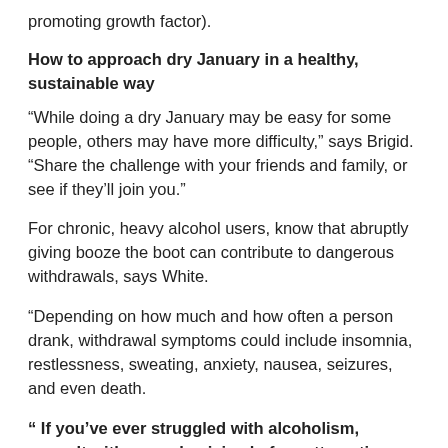promoting growth factor).
How to approach dry January in a healthy, sustainable way
“While doing a dry January may be easy for some people, others may have more difficulty,” says Brigid. “Share the challenge with your friends and family, or see if they’ll join you.”
For chronic, heavy alcohol users, know that abruptly giving booze the boot can contribute to dangerous withdrawals, says White.
“Depending on how much and how often a person drank, withdrawal symptoms could include insomnia, restlessness, sweating, anxiety, nausea, seizures, and even death.
“ If you’ve ever struggled with alcoholism, consult with your physician before attempting a dry January.